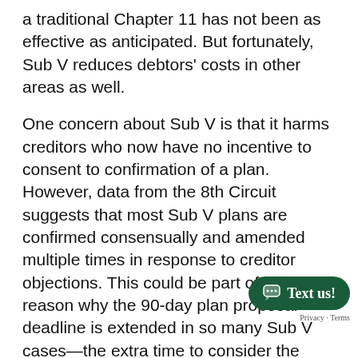a traditional Chapter 11 has not been as effective as anticipated. But fortunately, Sub V reduces debtors' costs in other areas as well.
One concern about Sub V is that it harms creditors who now have no incentive to consent to confirmation of a plan. However, data from the 8th Circuit suggests that most Sub V plans are confirmed consensually and amended multiple times in response to creditor objections. This could be part of the reason why the 90-day plan proposal deadline is extended in so many Sub V cases—the extra time to consider the interests of creditors and amend plans may lead to plans that are more equitable and perhaps put debtors in a better position coming out of their reorganization.
Despite the benefits Sub V provides for path to successful reorganization for a Sub V debtor